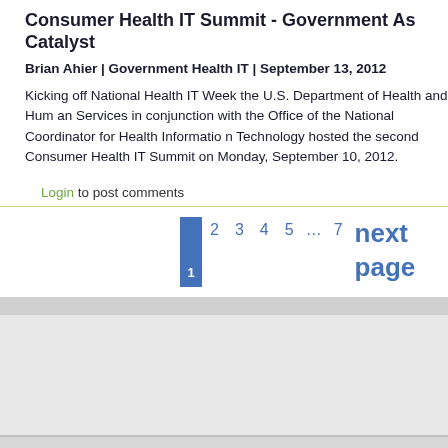Consumer Health IT Summit - Government As Catalyst
Brian Ahier | Government Health IT | September 13, 2012
Kicking off National Health IT Week the U.S. Department of Health and Human Services in conjunction with the Office of the National Coordinator for Health Information Technology hosted the second Consumer Health IT Summit on Monday, September 10, 2012.
Login to post comments
1  2  3  4  5  ...  7  next page
CONTACT US   PRIVACY
Copyright ©2011-2020 Open Health Marketplace, LLC. All Rights Reserved.